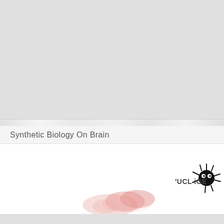Synthetic Biology On Brain
[Figure (logo): UCL iGEM logo - stylized text 'UCL iGE' with a neuron/microbe illustration on right side]
[Figure (photo): Faint pink/red brain tissue image visible in lower portion of white banner]